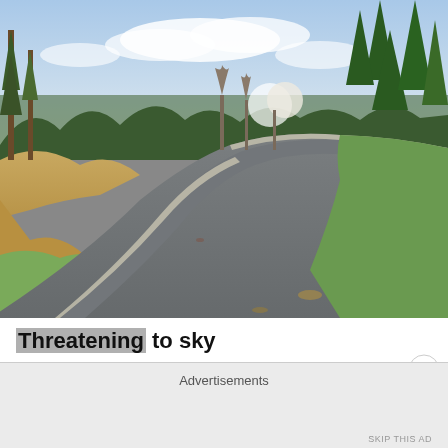[Figure (photo): Outdoor photo of a curving asphalt road flanked by grass, a hillside with fallen leaves, and trees (bare deciduous and green conifers) under a partly cloudy sky. The road curves from the lower left toward the upper right.]
Threatening to sky
Advertisements